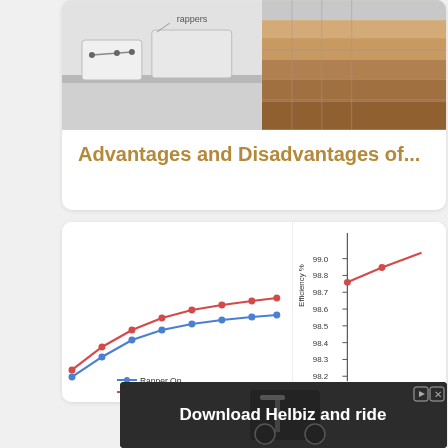[Figure (photo): Card thumbnail with two partial images: left shows lab/scientific equipment in grayscale, right shows geological cross-section with earth layers in brown/tan tones]
Advantages and Disadvantages of...
[Figure (line-chart): Line chart showing efficiency curves: left portion shows two lines (Rapper On in blue, Rapper Off in red) rising from left; right portion shows y-axis labeled Efficiency % with values 98.2, 98.3, 98.4, 98.5, 98.6, 98.7, 98.8, 99.0]
[Figure (photo): Advertisement banner for Helbiz scooter app: dark background with electric scooter image and text 'Download Helbiz and ride']